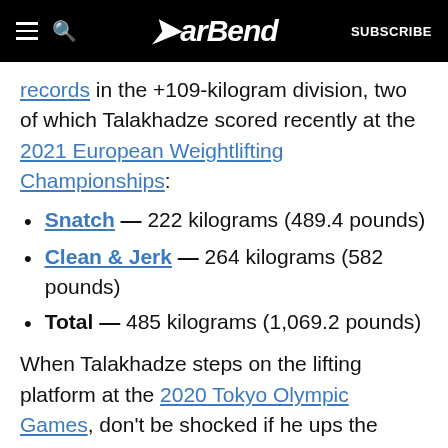BarBend — SUBSCRIBE
records in the +109-kilogram division, two of which Talakhadze scored recently at the 2021 European Weightlifting Championships:
Snatch — 222 kilograms (489.4 pounds)
Clean & Jerk — 264 kilograms (582 pounds)
Total — 485 kilograms (1,069.2 pounds)
When Talakhadze steps on the lifting platform at the 2020 Tokyo Olympic Games, don't be shocked if he ups the world records